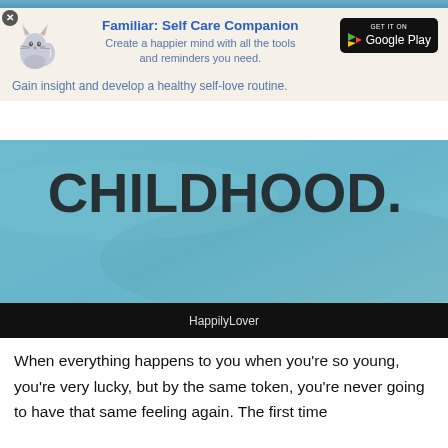[Figure (screenshot): Top portion of article page with 'CHILDHOOD.' text visible on teal/blue background banner]
[Figure (infographic): Advertisement for 'Familiar: Self Care Companion' app with cat illustration and Google Play button on beige background. Tagline: Gain insight and develop a healthy self-love routine.]
[Figure (photo): Blue/teal textured background image with bold dark text 'CHILDHOOD.' and a black caption bar at bottom reading 'HappilyLover']
When everything happens to you when you're so young, you're very lucky, but by the same token, you're never going to have that same feeling again. The first time